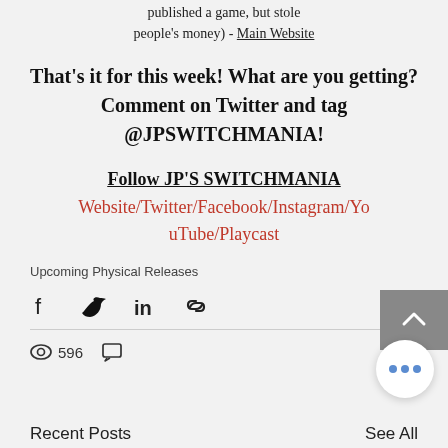published a game, but stole people's money) - Main Website
That's it for this week! What are you getting? Comment on Twitter and tag @JPSWITCHMANIA!
Follow JP'S SWITCHMANIA
Website/Twitter/Facebook/Instagram/YouTube/Playcast
Upcoming Physical Releases
[Figure (infographic): Social share icons: Facebook, Twitter, LinkedIn, Link]
596 views, comment icon
Recent Posts
See All